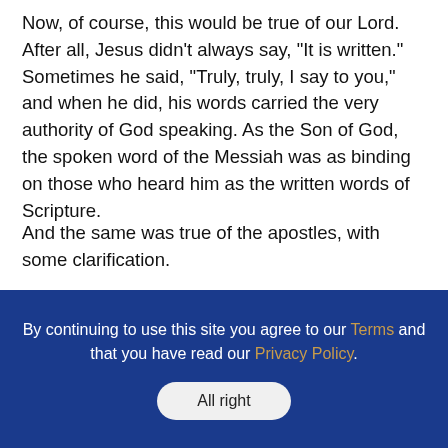Now, of course, this would be true of our Lord. After all, Jesus didn't always say, “It is written.” Sometimes he said, “Truly, truly, I say to you,” and when he did, his words carried the very authority of God speaking. As the Son of God, the spoken word of the Messiah was as binding on those who heard him as the written words of Scripture.
And the same was true of the apostles, with some clarification.
The apostles weren’t “inspired” in the sense that everything they said was special revelation from God. But when Jesus sent them out, he gave them his Spirit and his authority and said to them, “The one who
By continuing to use this site you agree to our Terms and that you have read our Privacy Policy.